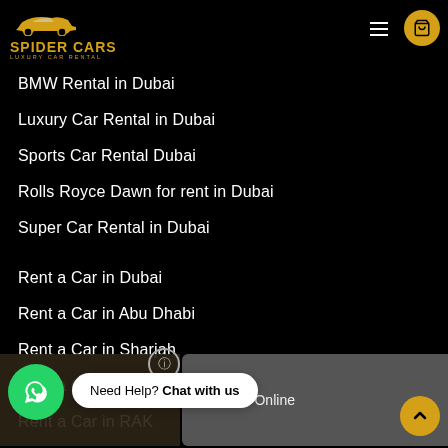Spider Cars – Luxury Car Rental
BMW Rental in Dubai
Luxury Car Rental in Dubai
Sports Car Rental Dubai
Rolls Royce Dawn for rent in Dubai
Super Car Rental in Dubai
Rent a Car in Dubai
Rent a Car in Abu Dhabi
Rent a Car in Sharjah
Rent a Car in Ajman
Rent a Car in RAK
Rent a Car Dubai Airport
Rent a Car Sharjah Airport
6 Users Online
Need Help? Chat with us